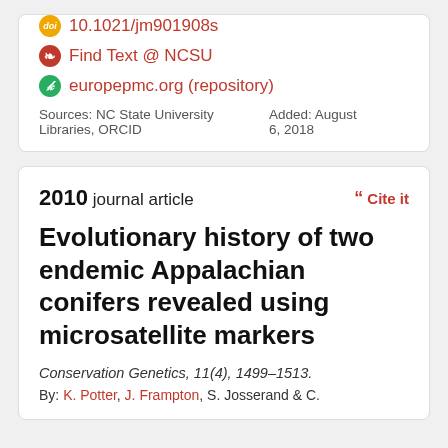doi 10.1021/jm901908s
Find Text @ NCSU
europepmc.org (repository)
Sources: NC State University Libraries, ORCID    Added: August 6, 2018
2010 journal article
Cite it
Evolutionary history of two endemic Appalachian conifers revealed using microsatellite markers
Conservation Genetics, 11(4), 1499–1513.
By: K. Potter, J. Frampton, S. Josserand & C.